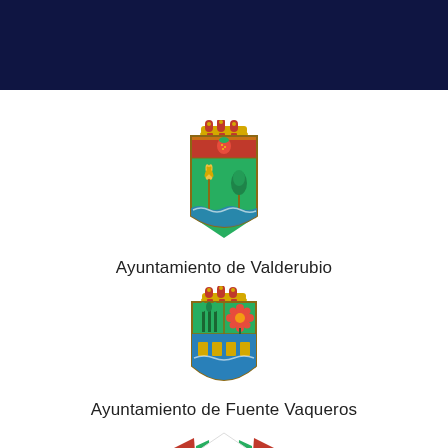[Figure (logo): Dark navy blue header bar at top of page]
[Figure (logo): Coat of arms / escudo of Ayuntamiento de Valderubio: shield with green background, red top section with gold crown, strawberry and wheat/palm symbols, blue wavy base]
Ayuntamiento de Valderubio
[Figure (logo): Coat of arms / escudo of Ayuntamiento de Fuente Vaqueros: shield with green background, red/pink flower and green plant, blue/gold lower section, gold crown on top]
Ayuntamiento de Fuente Vaqueros
[Figure (logo): Logo/emblem of a third ayuntamiento: red and green stylized building/church shape with white building silhouette]